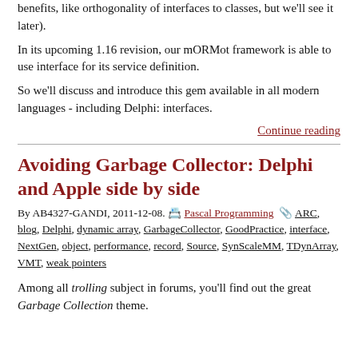benefits, like orthogonality of interfaces to classes, but we'll see it later).
In its upcoming 1.16 revision, our mORMot framework is able to use interface for its service definition.
So we'll discuss and introduce this gem available in all modern languages - including Delphi: interfaces.
Continue reading
Avoiding Garbage Collector: Delphi and Apple side by side
By AB4327-GANDI, 2011-12-08. Pascal Programming ARC, blog, Delphi, dynamic array, GarbageCollector, GoodPractice, interface, NextGen, object, performance, record, Source, SynScaleMM, TDynArray, VMT, weak pointers
Among all trolling subject in forums, you'll find out the great Garbage Collection theme.